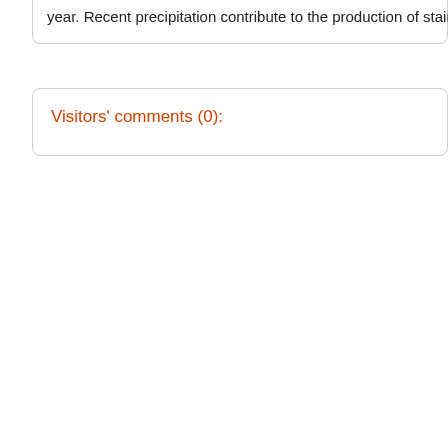year. Recent precipitation contribute to the production of stairs and
Visitors' comments (0):